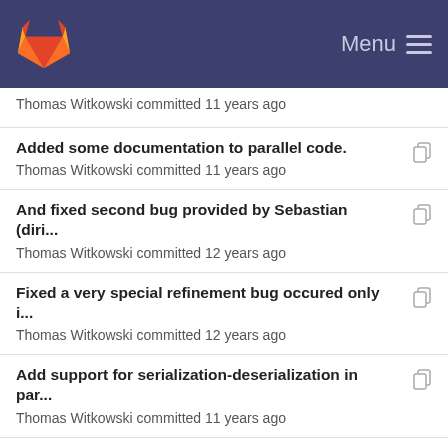Menu
Thomas Witkowski committed 11 years ago
Added some documentation to parallel code.
Thomas Witkowski committed 11 years ago
And fixed second bug provided by Sebastian (diri...
Thomas Witkowski committed 12 years ago
Fixed a very special refinement bug occured only i...
Thomas Witkowski committed 12 years ago
Add support for serialization-deserialization in par...
Thomas Witkowski committed 11 years ago
And fixed second bug provided by Sebastian (diri...
Thomas Witkowski committed 12 years ago
Add support for serialization-deserialization in par...
Thomas Witkowski committed 11 years ago
Fixed a very special refinement bug occured only i...